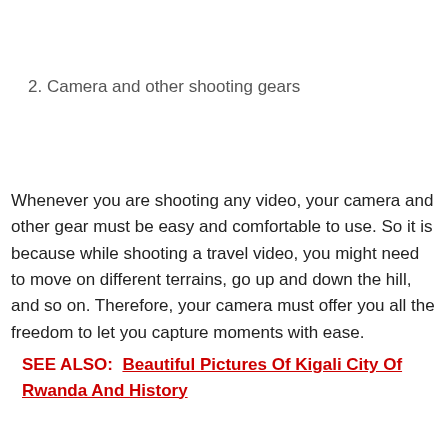2. Camera and other shooting gears
Whenever you are shooting any video, your camera and other gear must be easy and comfortable to use. So it is because while shooting a travel video, you might need to move on different terrains, go up and down the hill, and so on. Therefore, your camera must offer you all the freedom to let you capture moments with ease.
SEE ALSO:  Beautiful Pictures Of Kigali City Of Rwanda And History